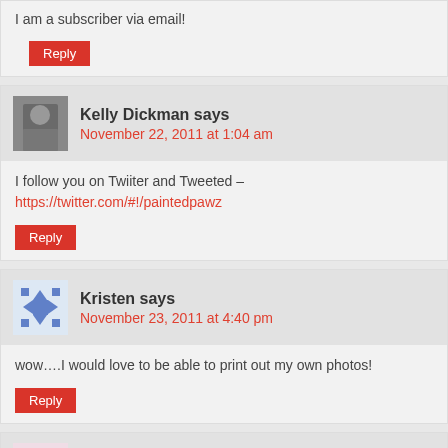I am a subscriber via email!
Reply
Kelly Dickman says
November 22, 2011 at 1:04 am
I follow you on Twiiter and Tweeted – https://twitter.com/#!/paintedpawz
Reply
Kristen says
November 23, 2011 at 4:40 pm
wow….I would love to be able to print out my own photos!
Reply
Kristie says
November 25, 2011 at 8:08 am